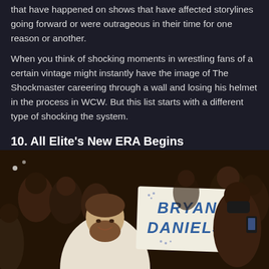that have happened on shows that have affected storylines going forward or were outrageous in their time for one reason or another.
When you think of shocking moments in wrestling fans of a certain vintage might instantly have the image of The Shockmaster careering through a wall and losing his helmet in the process in WCW. But this list starts with a different type of shocking the system.
10. All Elite's New ERA Begins
[Figure (photo): Photo of a smiling bearded man in a white t-shirt at a wrestling event, with a fan holding a sign reading 'BRYAN DANIELS' behind him, surrounded by a crowd.]